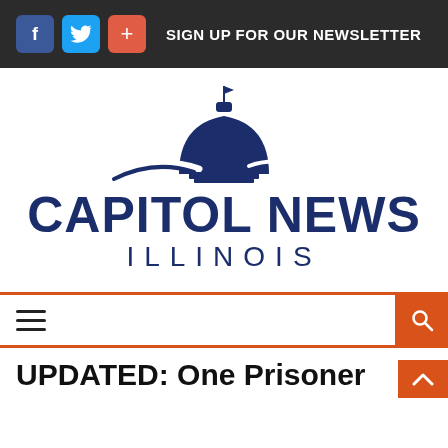SIGN UP FOR OUR NEWSLETTER
[Figure (logo): Capitol News Illinois logo — dark blue capitol dome icon above bold text CAPITOL NEWS and ILLINOIS]
[Figure (other): Navigation bar with hamburger menu icon on left, orange search button on right, orange top and bottom border]
UPDATED: One Prisoner